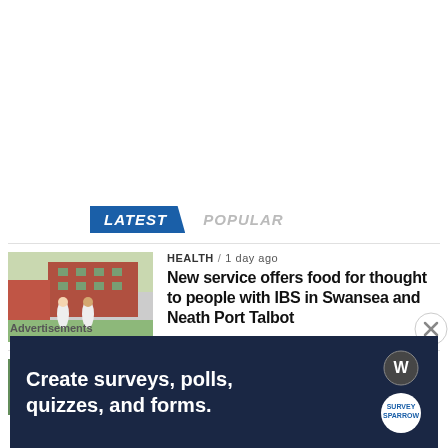[Figure (other): Navigation tabs showing LATEST (blue highlighted) and POPULAR]
[Figure (photo): Two nurses in white uniforms standing outside a brick building]
HEALTH / 1 day ago
New service offers food for thought to people with IBS in Swansea and Neath Port Talbot
[Figure (photo): Partially visible outdoor scene with trees]
ENVIRONMENT / 1 day ago
Visitors Centre at Afan Valley Park to reopen
Advertisements
[Figure (other): Advertisement banner: Create surveys, polls, quizzes, and forms. WordPress/Survey Sparrow logos on dark navy background]